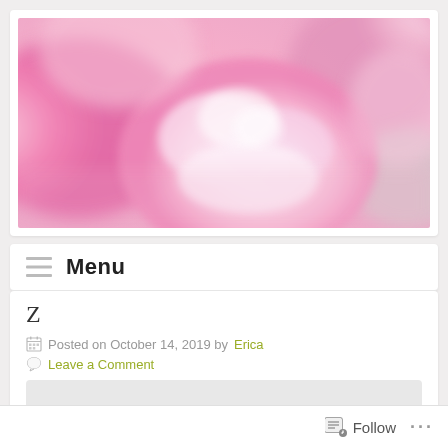[Figure (photo): Close-up macro photograph of pink peony/chrysanthemum flowers with soft bokeh background, predominantly pink and white tones with a hint of green]
Menu
Z
Posted on October 14, 2019 by Erica
Leave a Comment